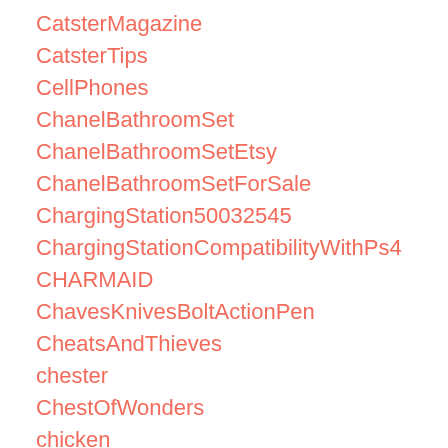CatsterMagazine
CatsterTips
CellPhones
ChanelBathroomSet
ChanelBathroomSetEtsy
ChanelBathroomSetForSale
ChargingStation50032545
ChargingStationCompatibilityWithPs4
CHARMAID
ChavesKnivesBoltActionPen
CheatsAndThieves
chester
ChestOfWonders
chicken
childladplay